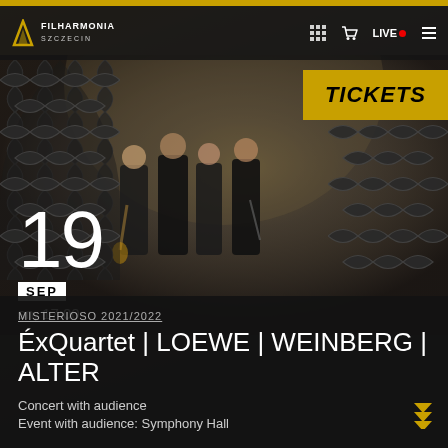FILHARMONIA SZCZECIN
[Figure (photo): Screenshot of Filharmonia Szczecin concert event page showing four musicians in formal black attire standing in a stone archway, with decorative scale patterns on left and right, gold TICKETS button top right]
19
SEP
sn, 17:00
MISTERIOSO 2021/2022
ÉxQuartet | LOEWE | WEINBERG | ALTER
Concert with audience
Event with audience: Symphony Hall